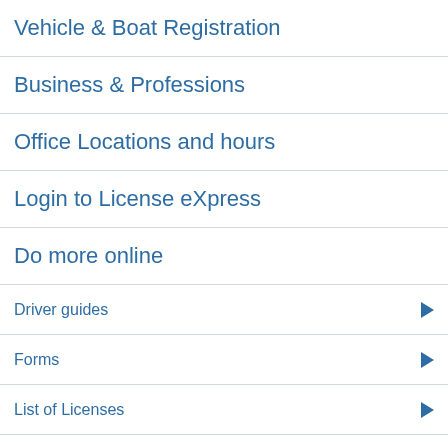Vehicle & Boat Registration
Business & Professions
Office Locations and hours
Login to License eXpress
Do more online
Driver guides
Forms
List of Licenses
Moving to WA
Contact us
About DOL
Rulemaking activity